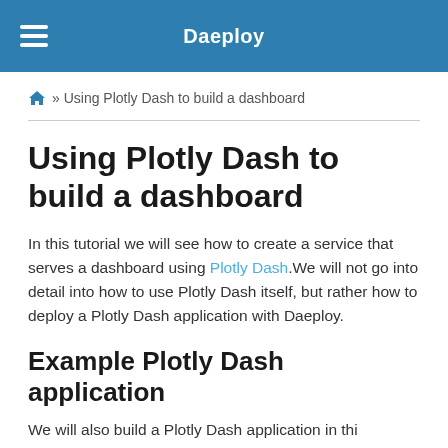Daeploy
🏠 » Using Plotly Dash to build a dashboard
Using Plotly Dash to build a dashboard
In this tutorial we will see how to create a service that serves a dashboard using Plotly Dash.We will not go into detail into how to use Plotly Dash itself, but rather how to deploy a Plotly Dash application with Daeploy.
Example Plotly Dash application
We will...